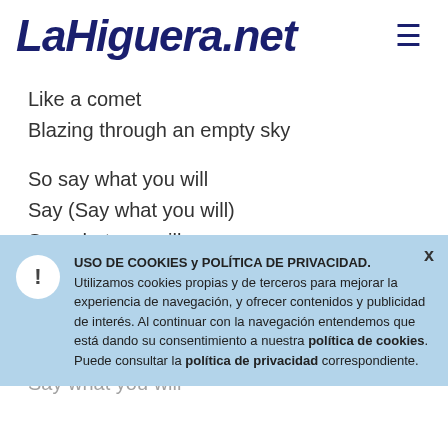LaHiguera.net
Like a comet
Blazing through an empty sky

So say what you will
Say (Say what you will)
Say what you will
Say (Say what you will)

So say what you will
Say (Say what you will)
Say what you will
USO DE COOKIES y POLÍTICA DE PRIVACIDAD. Utilizamos cookies propias y de terceros para mejorar la experiencia de navegación, y ofrecer contenidos y publicidad de interés. Al continuar con la navegación entendemos que está dando su consentimiento a nuestra política de cookies. Puede consultar la política de privacidad correspondiente.